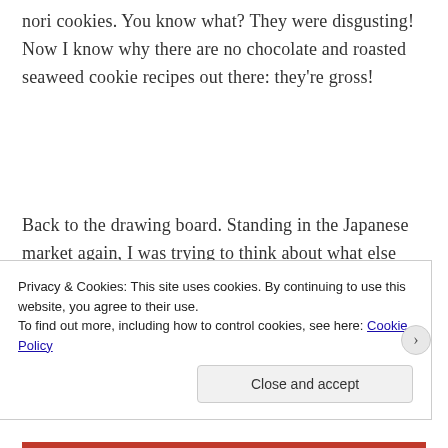nori cookies. You know what? They were disgusting! Now I know why there are no chocolate and roasted seaweed cookie recipes out there: they're gross!
Back to the drawing board. Standing in the Japanese market again, I was trying to think about what else could go in a cookie. Wasabi peas? Why not! As wasabi is actually not a particularly strong taste, I
Privacy & Cookies: This site uses cookies. By continuing to use this website, you agree to their use.
To find out more, including how to control cookies, see here: Cookie Policy
Close and accept